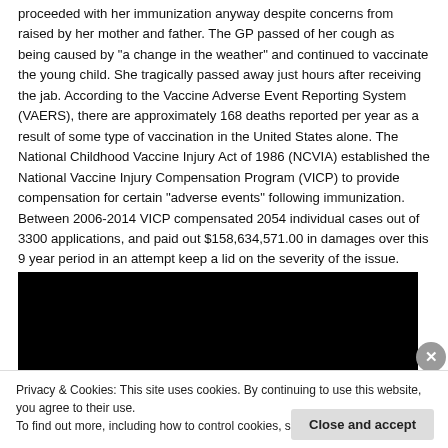proceeded with her immunization anyway despite concerns from raised by her mother and father. The GP passed of her cough as being caused by "a change in the weather" and continued to vaccinate the young child. She tragically passed away just hours after receiving the jab. According to the Vaccine Adverse Event Reporting System (VAERS), there are approximately 168 deaths reported per year as a result of some type of vaccination in the United States alone. The National Childhood Vaccine Injury Act of 1986 (NCVIA) established the National Vaccine Injury Compensation Program (VICP) to provide compensation for certain "adverse events" following immunization. Between 2006-2014 VICP compensated 2054 individual cases out of 3300 applications, and paid out $158,634,571.00 in damages over this 9 year period in an attempt keep a lid on the severity of the issue.
[Figure (photo): Black rectangle representing an embedded video or image placeholder]
Privacy & Cookies: This site uses cookies. By continuing to use this website, you agree to their use.
To find out more, including how to control cookies, see here: Cookie Policy
Close and accept